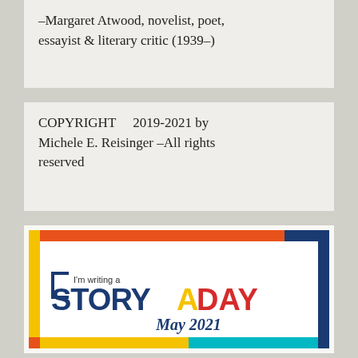–Margaret Atwood, novelist, poet, essayist & literary critic (1939–)
COPYRIGHT    2019-2021 by Michele E. Reisinger –All rights reserved
[Figure (logo): StoryADay badge: I'm writing a STORYADAY May 2021, colorful rectangular badge with orange, red, yellow, teal and dark blue border.]